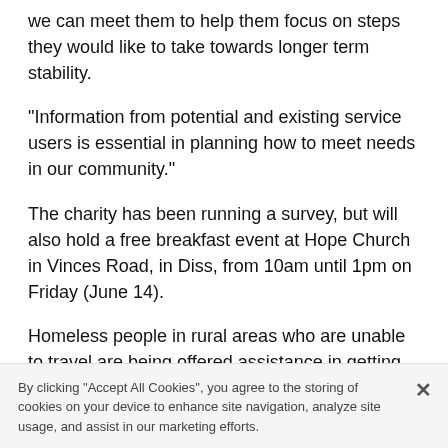we can meet them to help them focus on steps they would like to take towards longer term stability.
"Information from potential and existing service users is essential in planning how to meet needs in our community."
The charity has been running a survey, but will also hold a free breakfast event at Hope Church in Vinces Road, in Diss, from 10am until 1pm on Friday (June 14).
Homeless people in rural areas who are unable to travel are being offered assistance in getting there.
Further consultation events will be held before final
By clicking “Accept All Cookies”, you agree to the storing of cookies on your device to enhance site navigation, analyze site usage, and assist in our marketing efforts.